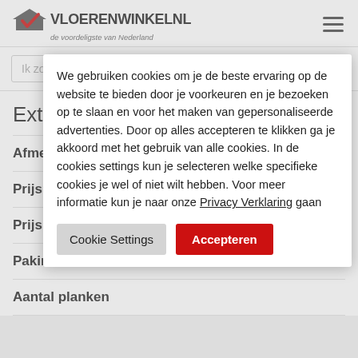[Figure (logo): Vloerenwinkel.nl logo with house/checkmark icon and tagline 'de voordeligste van Nederland']
Ik zoek...
Extra inform
Afmetingen
Prijs
Prijs per pak
Pakinhoud
Aantal planken
We gebruiken cookies om je de beste ervaring op de website te bieden door je voorkeuren en je bezoeken op te slaan en voor het maken van gepersonaliseerde advertenties. Door op alles accepteren te klikken ga je akkoord met het gebruik van alle cookies. In de cookies settings kun je selecteren welke specifieke cookies je wel of niet wilt hebben. Voor meer informatie kun je naar onze Privacy Verklaring gaan
Cookie Settings
Accepteren